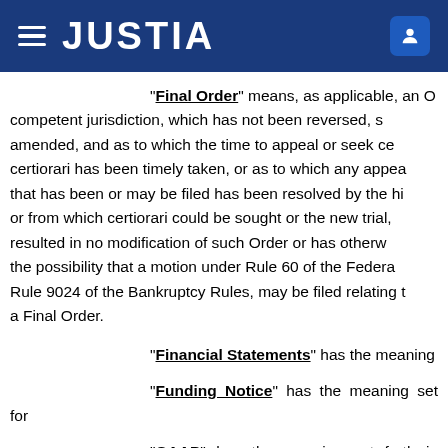JUSTIA
“Final Order” means, as applicable, an Order of a court of competent jurisdiction, which has not been reversed, stayed, or amended, and as to which the time to appeal or seek certiorari has been timely taken, or as to which any appeal that has been or may be filed has been resolved by the highest court or from which certiorari could be sought or the new trial, rehearing, resulted in no modification of such Order or has otherwise expired; the possibility that a motion under Rule 60 of the Federal Rules, or Rule 9024 of the Bankruptcy Rules, may be filed relating to such Order is a Final Order.
“Financial Statements” has the meaning
“Funding Notice” has the meaning set for
“GAAP” has the meaning set forth in Sectio
“Governmental Entity” means any U.S.